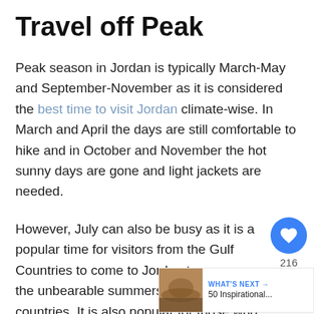Travel off Peak
Peak season in Jordan is typically March-May and September-November as it is considered the best time to visit Jordan climate-wise. In March and April the days are still comfortable to hike and in October and November the hot sunny days are gone and light jackets are needed.
However, July can also be busy as it is a popular time for visitors from the Gulf Countries to come to Jordan to escape the unbearable summers in their countries. It is also popular for those who travel over school holidays.
If you travel in January, February and early